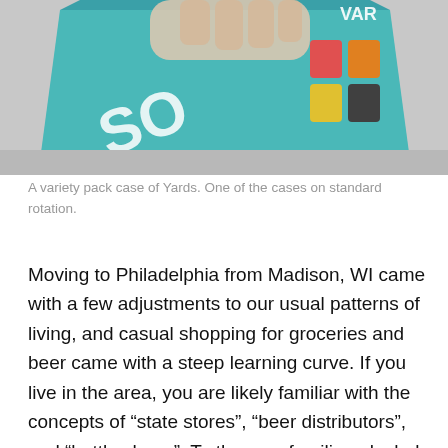[Figure (photo): A hand holding or touching a teal/turquoise variety pack case of Yards beer, showing colorful cans on the box.]
A variety pack case of Yards. One of the cases on standard rotation.
Moving to Philadelphia from Madison, WI came with a few adjustments to our usual patterns of living, and casual shopping for groceries and beer came with a steep learning curve. If you live in the area, you are likely familiar with the concepts of “state stores”, “beer distributors”, and “bottle shops”. To those unfamiliar, alcohol is strictly sold by the State of Pennsylvania, with special retail locations for wine and liquor (“state stores”–basic selections with locations few and far between) and beer, which can be